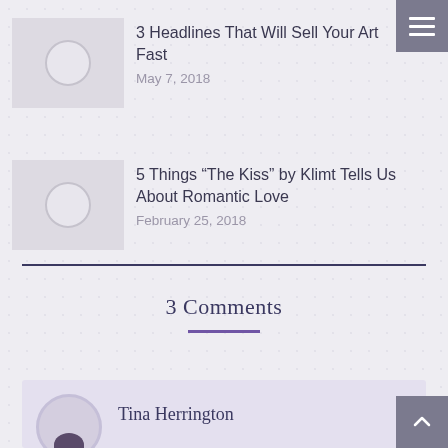[Figure (illustration): Gray thumbnail placeholder with circle icon]
3 Headlines That Will Sell Your Art Fast
May 7, 2018
[Figure (illustration): Gray thumbnail placeholder with circle icon]
5 Things “The Kiss” by Klimt Tells Us About Romantic Love
February 25, 2018
3 Comments
Tina Herrington